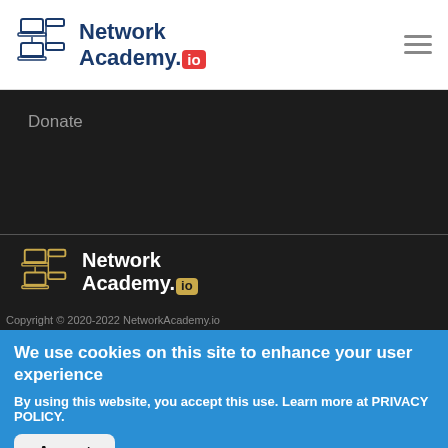[Figure (logo): Network Academy.io logo with laptop/computer icon — header version in dark blue and red]
[Figure (logo): Network Academy.io footer logo with laptop/computer icon in gold outline on dark background]
Donate
Copyright © 2020-2022 NetworkAcademy.io
We use cookies on this site to enhance your user experience
By using this website, you accept this use. Learn more at PRIVACY POLICY.
Accept